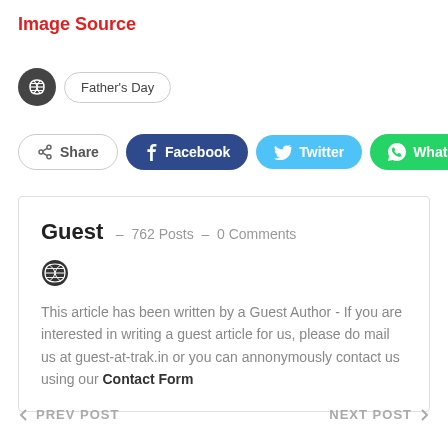Image Source
Father's Day
Share  Facebook  Twitter  WhatsApp
Guest  –  762 Posts  –  0 Comments
This article has been written by a Guest Author - If you are interested in writing a guest article for us, please do mail us at guest-at-trak.in or you can annonymously contact us using our Contact Form
← PREV POST   NEXT POST →